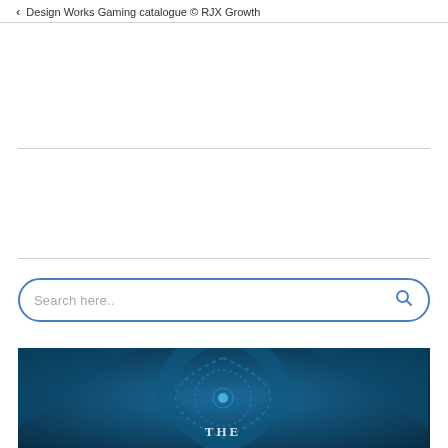< Design Works Gaming catalogue © RJX Growth
[Figure (screenshot): Search bar with rounded border and search icon, placeholder text 'Search here..']
[Figure (photo): Blue teal book cover with geometric circle pattern and dashed lines, text 'THE' visible at bottom]